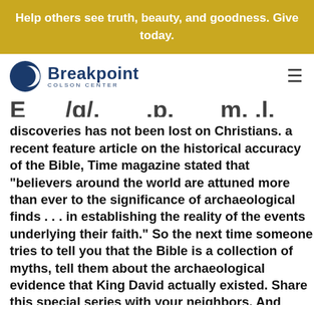Help others see truth, beauty, and goodness. Give today.
[Figure (logo): Breakpoint Colson Center logo with crescent moon icon]
discoveries has not been lost on Christians. a recent feature article on the historical accuracy of the Bible, Time magazine stated that "believers around the world are attuned more than ever to the significance of archaeological finds . . . in establishing the reality of the events underlying their faith." So the next time someone tries to tell you that the Bible is a collection of myths, tell them about the archaeological evidence that King David actually existed. Share this special series with your neighbors. And don't forget to join in the 3,000th-year celebration of David...